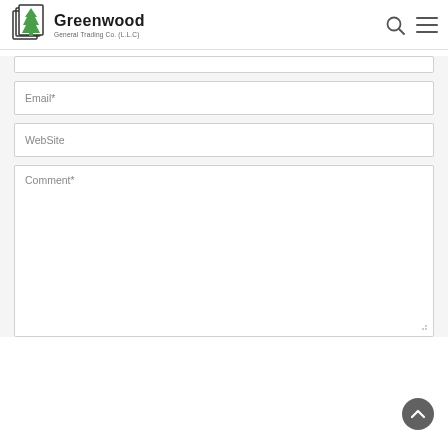[Figure (logo): Greenwood General Trading Co. (L.L.C) logo with pine tree icon]
Email*
WebSite
Comment*